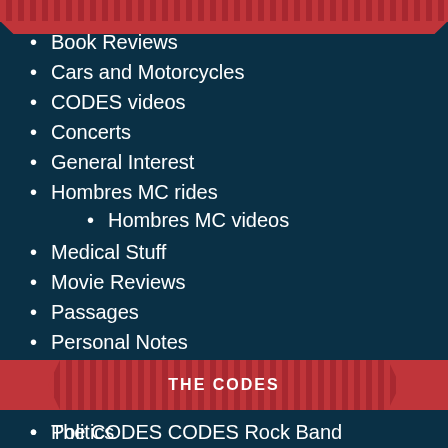Book Reviews
Cars and Motorcycles
CODES videos
Concerts
General Interest
Hombres MC rides
Hombres MC videos
Medical Stuff
Movie Reviews
Passages
Personal Notes
Places visited- USA
Places visited- world
Politics
Vietnam (1968 – 2010)
Vietnam- A brief history
THE CODES
The CODES CODES Rock Band